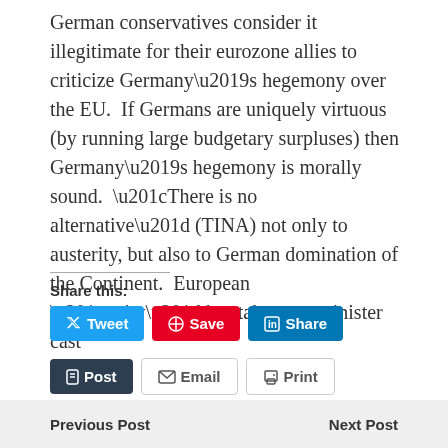German conservatives consider it illegitimate for their eurozone allies to criticize Germany’s hegemony over the EU.  If Germans are uniquely virtuous (by running large budgetary surpluses) then Germany’s hegemony is morally sound.  “There is no alternative” (TINA) not only to austerity, but also to German domination of the Continent.  European “unity” has taken on a sinister cast
Share this:
Tweet  Save  Share  Post  Email  Print
[Translate]
Previous Post    Next Post